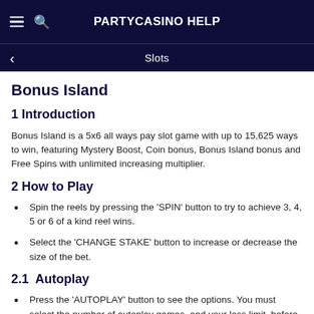PARTYCASINO Help
Slots
Bonus Island
1 Introduction
Bonus Island is a 5x6 all ways pay slot game with up to 15,625 ways to win, featuring Mystery Boost, Coin bonus, Bonus Island bonus and Free Spins with unlimited increasing multiplier.
2 How to Play
Spin the reels by pressing the 'SPIN' button to try to achieve 3, 4, 5 or 6 of a kind reel wins.
Select the 'CHANGE STAKE' button to increase or decrease the size of the bet.
2.1  Autoplay
Press the 'AUTOPLAY' button to see the options. You must select the number of autoplay games, and your loss limit, before you